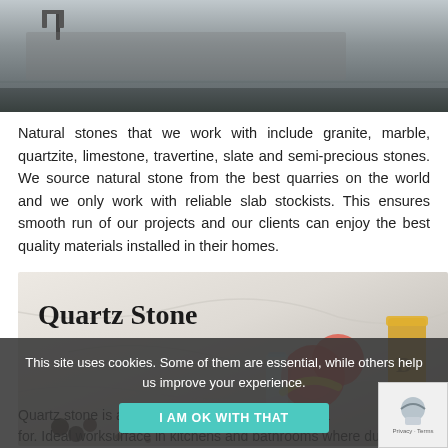[Figure (photo): Photo of a dark stone/granite countertop with faucets visible at top, dimly lit kitchen counter scene in grayscale]
Natural stones that we work with include granite, marble, quartzite, limestone, travertine, slate and semi-precious stones. We source natural stone from the best quarries on the world and we only work with reliable slab stockists. This ensures smooth run of our projects and our clients can enjoy the best quality materials installed in their homes.
[Figure (photo): Photo of a light marble/quartz countertop with citrus fruits, glass objects and a golden container arranged on it. Text 'Quartz Stone' overlaid in serif font top-left.]
Quartz stone is a hardwearing, non-porous and ea for. Ideal worksurface in kitchens and bathrooms where durability
This site uses cookies. Some of them are essential, while others help us improve your experience.
I AM OK WITH THAT